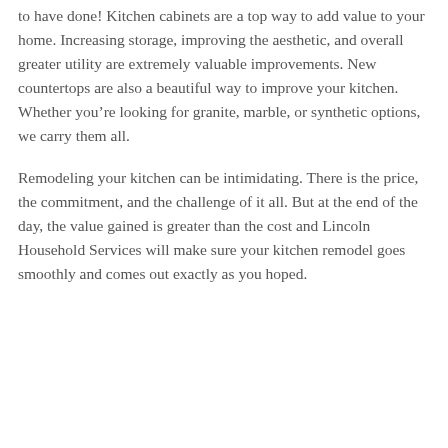to have done! Kitchen cabinets are a top way to add value to your home. Increasing storage, improving the aesthetic, and overall greater utility are extremely valuable improvements. New countertops are also a beautiful way to improve your kitchen. Whether you're looking for granite, marble, or synthetic options, we carry them all.
Remodeling your kitchen can be intimidating. There is the price, the commitment, and the challenge of it all. But at the end of the day, the value gained is greater than the cost and Lincoln Household Services will make sure your kitchen remodel goes smoothly and comes out exactly as you hoped.